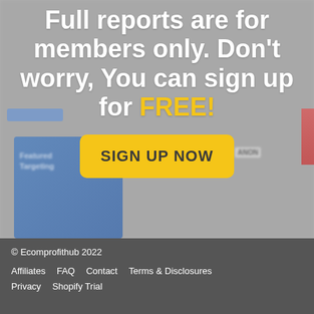Full reports are for members only. Don't worry, You can sign up for FREE!
[Figure (screenshot): Blurred background screenshot of a web report page with blurred content cards and tags]
SIGN UP NOW
© Ecomprofithub 2022
Affiliates
FAQ
Contact
Terms & Disclosures
Privacy
Shopify Trial